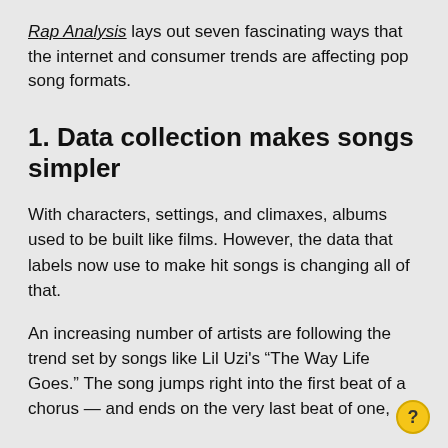Rap Analysis lays out seven fascinating ways that the internet and consumer trends are affecting pop song formats.
1. Data collection makes songs simpler
With characters, settings, and climaxes, albums used to be built like films. However, the data that labels now use to make hit songs is changing all of that.
An increasing number of artists are following the trend set by songs like Lil Uzi's “The Way Life Goes.” The song jumps right into the first beat of a chorus — and ends on the very last beat of one,